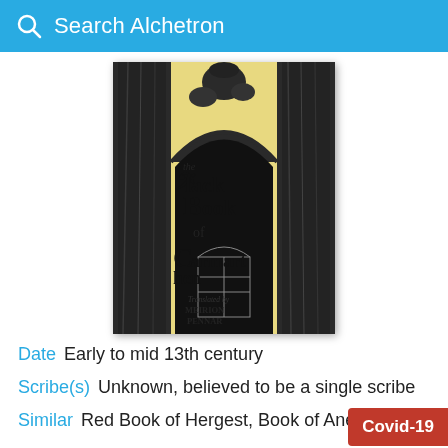Search Alchetron
[Figure (illustration): Book cover of 'The Black Book of Carmarthen' translated by Meirion Pennar. Cream/yellow background with black ink illustration of a stone archway/gate. Decorative medieval-style lettering for the title.]
Date  Early to mid 13th century
Scribe(s)  Unknown, believed to be a single scribe
Similar  Red Book of Hergest, Book of Aneirin,